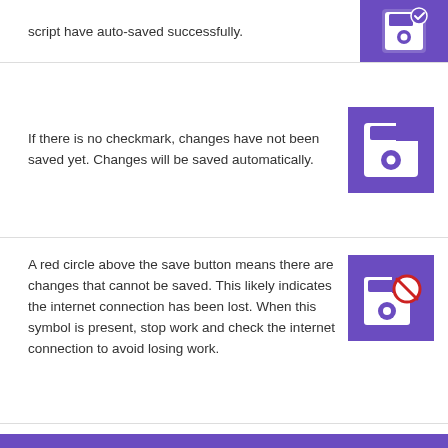script have auto-saved successfully.
[Figure (illustration): Purple square icon with white floppy disk save icon and checkmark overlay]
If there is no checkmark, changes have not been saved yet. Changes will be saved automatically.
[Figure (illustration): Purple square icon with white floppy disk save icon (no checkmark)]
A red circle above the save button means there are changes that cannot be saved. This likely indicates the internet connection has been lost. When this symbol is present, stop work and check the internet connection to avoid losing work.
[Figure (illustration): Purple square icon with white floppy disk save icon and red circle/slash overlay indicating error]
Save Error Troubleshoot: If an error appears during saving, click on the Show Details button before reloading the page, closing the browser or logging out.